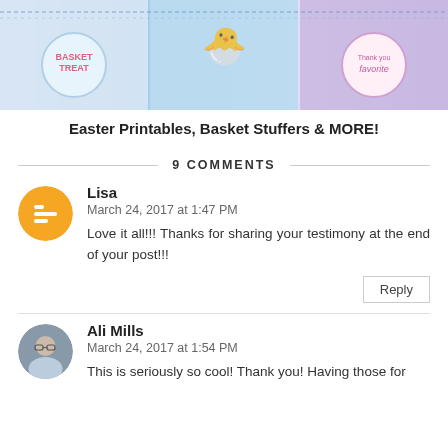[Figure (photo): Banner image showing Easter printables and basket stuffers — colorful tags and decorations with blue twine.]
Easter Printables, Basket Stuffers & MORE!
9 COMMENTS
Lisa
March 24, 2017 at 1:47 PM
Love it all!!! Thanks for sharing your testimony at the end of your post!!!
Reply
Ali Mills
March 24, 2017 at 1:54 PM
This is seriously so cool! Thank you! Having those for